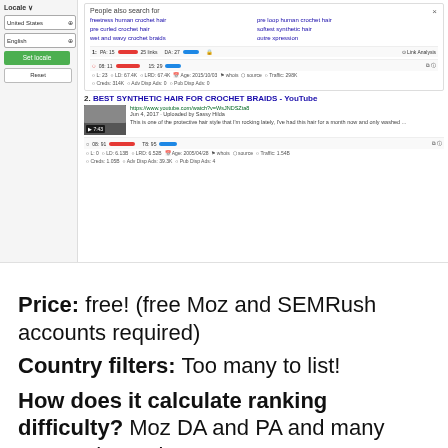[Figure (screenshot): Screenshot of a SERP analysis tool showing Google search results for crochet hair with MozBar metrics. Left panel shows locale selector (United States, English) with Set locale and Reset buttons. Main area shows two search results with PA/DA metrics, link counts, and traffic data.]
Price: free! (free Moz and SEMRush accounts required)
Country filters: Too many to list!
How does it calculate ranking difficulty? Moz DA and PA and many SEMrush metrics